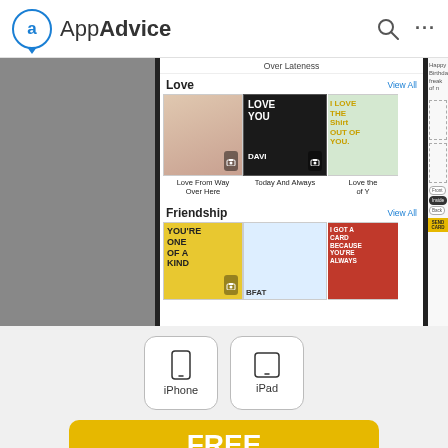AppAdvice
[Figure (screenshot): Screenshot of a greeting card app showing Love and Friendship categories with card thumbnails including Love From Way Over Here, Today And Always, and friendship cards. Right side shows card front/inside/back tabs and SEND CARD button. Bottom shows iPhone and iPad device buttons and a yellow FREE in the App Store banner.]